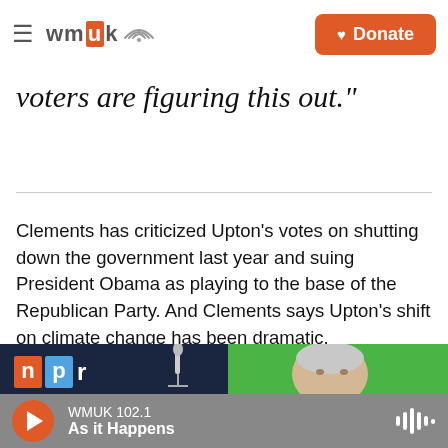WMUK — Donate
voters are figuring this out."
Clements has criticized Upton's votes on shutting down the government last year and suing President Obama as playing to the base of the Republican Party. And Clements says Upton's shift on climate change has been dramatic.
[Figure (photo): NPR logo and person visible in split image, dark background on left with NPR logo and microphone, green background on right with person's head visible]
WMUK 102.1 — As it Happens